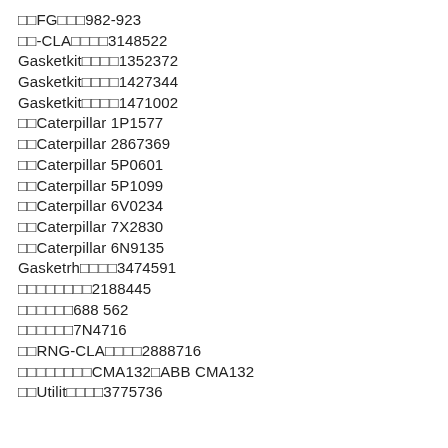□□FG□□□982-923
□□-CLA□□□□3148522
Gasketkit□□□□1352372
Gasketkit□□□□1427344
Gasketkit□□□□1471002
□□Caterpillar 1P1577
□□Caterpillar 2867369
□□Caterpillar 5P0601
□□Caterpillar 5P1099
□□Caterpillar 6V0234
□□Caterpillar 7X2830
□□Caterpillar 6N9135
Gasketrh□□□□3474591
□□□□□□□□2188445
□□□□□□688 562
□□□□□□7N4716
□□RNG-CLA□□□□2888716
□□□□□□□□CMA132□ABB CMA132
□□Utilit□□□□3775736